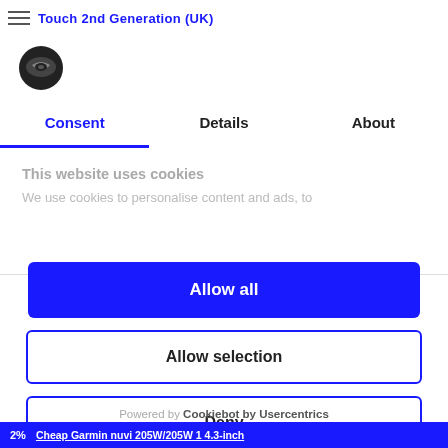Touch 2nd Generation (UK)
[Figure (logo): Cookiebot/Usercentrics logo - oval shield icon in dark color]
Consent	Details	About
This website uses cookies
We use cookies to personalise content and ads, to
Allow all
Allow selection
Deny
Powered by Cookiebot by Usercentrics
2%  Cheap Garmin nuvi 205W/205W 1 4.3-inch